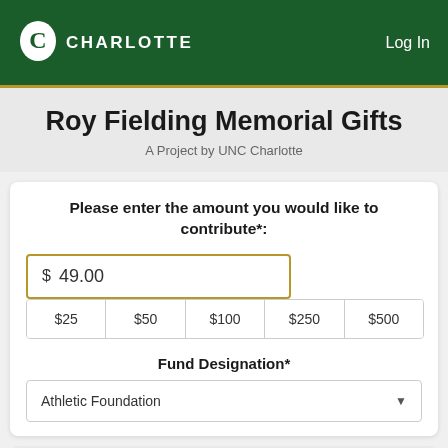[Figure (logo): UNC Charlotte logo with stylized C and CHARLOTTE text in white on dark green header, with Log In link at top right]
Roy Fielding Memorial Gifts
A Project by UNC Charlotte
Please enter the amount you would like to contribute*:
$ 49.00
| $25 | $50 | $100 | $250 | $500 |
| --- | --- | --- | --- | --- |
Fund Designation*
Athletic Foundation
Contact Information